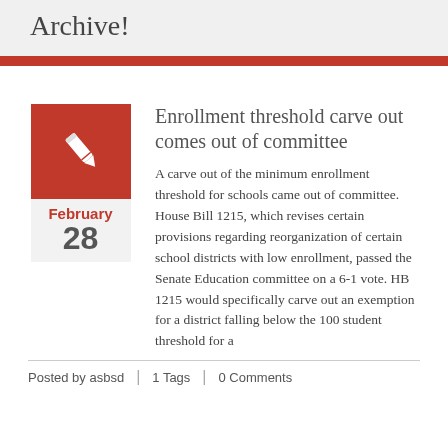Archive!
Enrollment threshold carve out comes out of committee
February 28
A carve out of the minimum enrollment threshold for schools came out of committee.   House Bill 1215, which revises certain provisions regarding reorganization of certain school districts with low enrollment, passed the Senate Education committee on a 6-1 vote. HB 1215 would specifically carve out an exemption for a district falling below the 100 student threshold for a
Posted by asbsd | 1 Tags | 0 Comments